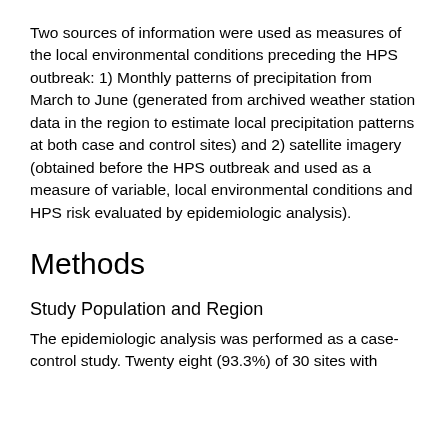Two sources of information were used as measures of the local environmental conditions preceding the HPS outbreak: 1) Monthly patterns of precipitation from March to June (generated from archived weather station data in the region to estimate local precipitation patterns at both case and control sites) and 2) satellite imagery (obtained before the HPS outbreak and used as a measure of variable, local environmental conditions and HPS risk evaluated by epidemiologic analysis).
Methods
Study Population and Region
The epidemiologic analysis was performed as a case-control study. Twenty eight (93.3%) of 30 sites with